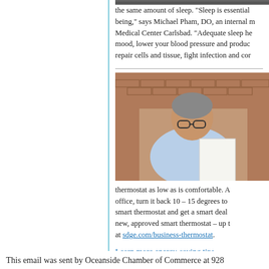[Figure (photo): Partial top photo visible at top of right column, showing a person outdoors]
the same amount of sleep. “Sleep is essential being,” says Michael Pham, DO, an internal m Medical Center Carlsbad. “Adequate sleep he mood, lower your blood pressure and produc repair cells and tissue, fight infection and cor
[Figure (photo): Middle-aged man with glasses sitting at a desk reading papers, brick wall background]
thermostat as low as is comfortable. A office, turn it back 10 – 15 degrees to smart thermostat and get a smart deal new, approved smart thermostat – up t at sdge.com/business-thermostat.
Learn more energy-saving tips.
This email was sent by Oceanside Chamber of Commerce at 928